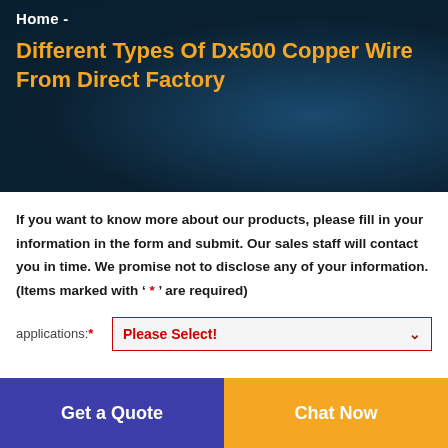Home -
Different Types Of Dx500 Copper Wire From Direct Factory
If you want to know more about our products, please fill in your information in the form and submit. Our sales staff will contact you in time. We promise not to disclose any of your information.(Items marked with ' * ' are required)
applications:* Please Select!
Get a Quote
Chat Now